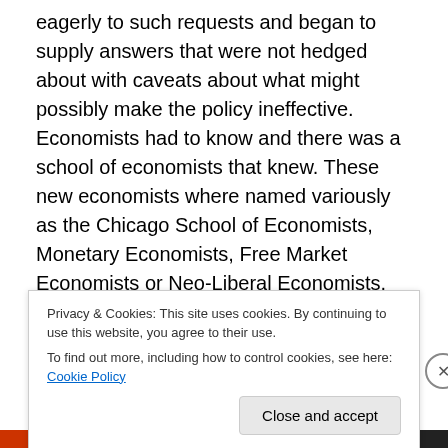eagerly to such requests and began to supply answers that were not hedged about with caveats about what might possibly make the policy ineffective. Economists had to know and there was a school of economists that knew. These new economists where named variously as the Chicago School of Economists, Monetary Economists, Free Market Economists or Neo-Liberal Economists. They took inspiration from the economist Milton Friedman the doyen of the Chicago School, who in turn was inspired by the economist Friedrich Hayek. What this group offered was a solution to
Privacy & Cookies: This site uses cookies. By continuing to use this website, you agree to their use.
To find out more, including how to control cookies, see here: Cookie Policy
Close and accept